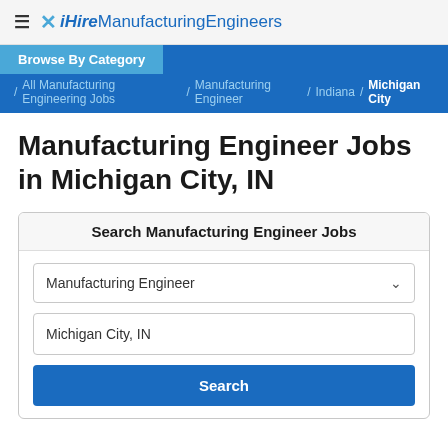≡ ✕ iHireManufacturingEngineers
Browse By Category
/ All Manufacturing Engineering Jobs / Manufacturing Engineer / Indiana / Michigan City
Manufacturing Engineer Jobs in Michigan City, IN
Search Manufacturing Engineer Jobs
Manufacturing Engineer (dropdown)
Michigan City, IN
Search